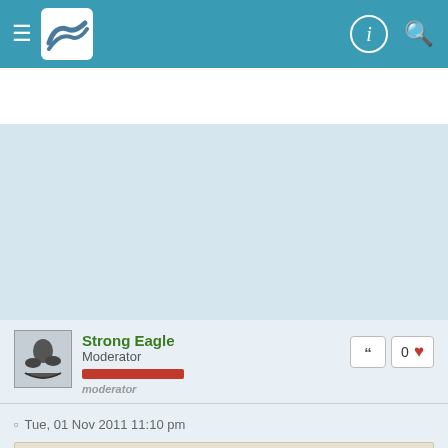[Figure (screenshot): Navigation bar with hamburger menu, logo, and icons]
[Figure (other): Advertisement placeholder area in light blue]
Strong Eagle
Moderator
moderator
0
Tue, 01 Nov 2011 11:10 pm
lol67890 wrote:
me?